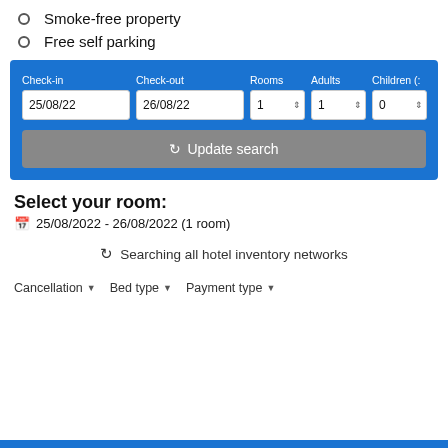Smoke-free property
Free self parking
[Figure (screenshot): Hotel booking search form with blue background. Fields: Check-in (25/08/22), Check-out (26/08/22), Rooms (1), Adults (1), Children (0). Update search button in grey.]
Select your room:
25/08/2022 - 26/08/2022 (1 room)
Searching all hotel inventory networks
Cancellation  Bed type  Payment type